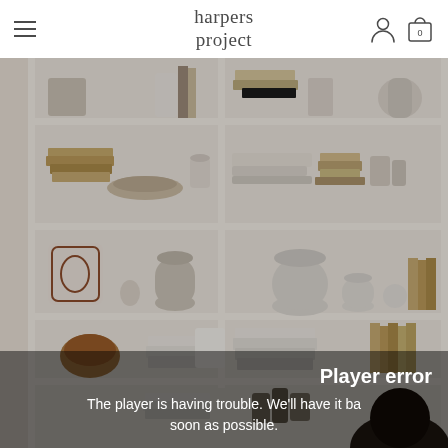harpers project
[Figure (photo): A white shelving unit filled with decorative objects — books, ceramic vases, bowls, a tray, small pottery items — in neutral beige and white tones. A dark-haired person is partially visible at the bottom right. The image is overlaid with a player error message.]
Player error
The player is having trouble. We'll have it back soon as possible.